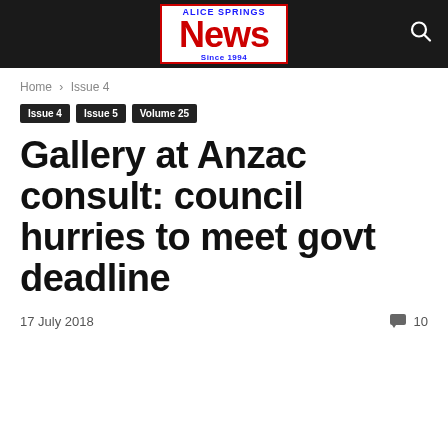Alice Springs News Since 1994
Home › Issue 4
Issue 4
Issue 5
Volume 25
Gallery at Anzac consult: council hurries to meet govt deadline
17 July 2018    10